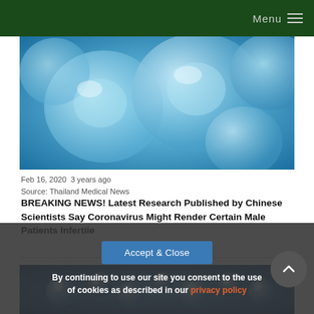Menu
[Figure (photo): Close-up microscopic image of blue glowing biological cells on a blue background]
Feb 16, 2020  3 years ago
Source: Thailand Medical News
BREAKING NEWS! Latest Research Published by Chinese Scientists Say Coronavirus Might Render Certain Male Patients Infertile
[Figure (photo): Blue molecular or bubble-like spheres on a dark blue background, scientific imagery]
By continuing to use our site you consent to the use of cookies as described in our privacy policy